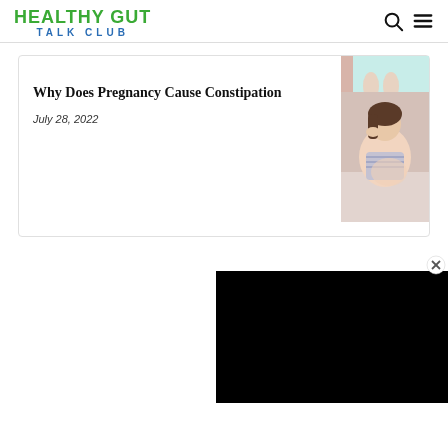HEALTHY GUT TALK CLUB
Why Does Pregnancy Cause Constipation
July 28, 2022
[Figure (photo): Pregnant woman lying down looking tired or uncomfortable]
[Figure (photo): Black video ad overlay with close button]